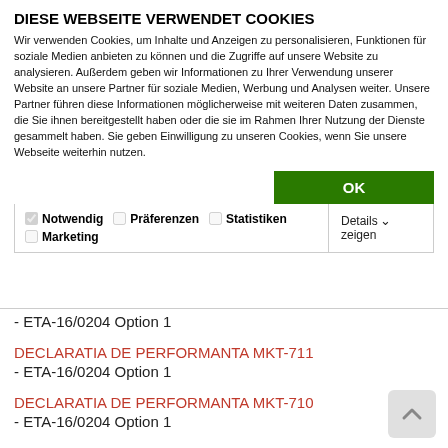DIESE WEBSEITE VERWENDET COOKIES
Wir verwenden Cookies, um Inhalte und Anzeigen zu personalisieren, Funktionen für soziale Medien anbieten zu können und die Zugriffe auf unsere Website zu analysieren. Außerdem geben wir Informationen zu Ihrer Verwendung unserer Website an unsere Partner für soziale Medien, Werbung und Analysen weiter. Unsere Partner führen diese Informationen möglicherweise mit weiteren Daten zusammen, die Sie ihnen bereitgestellt haben oder die sie im Rahmen Ihrer Nutzung der Dienste gesammelt haben. Sie geben Einwilligung zu unseren Cookies, wenn Sie unsere Webseite weiterhin nutzen.
OK
| ✓ Notwendig | Präferenzen | Statistiken | Details zeigen |
| Marketing |  |  |  |
- ETA-16/0204 Option 1
DECLARATIA DE PERFORMANTA MKT-711
- ETA-16/0204 Option 1
DECLARATIA DE PERFORMANTA MKT-710
- ETA-16/0204 Option 1
DECLARATIA DE PERFORMANTA MKT-1.3-200